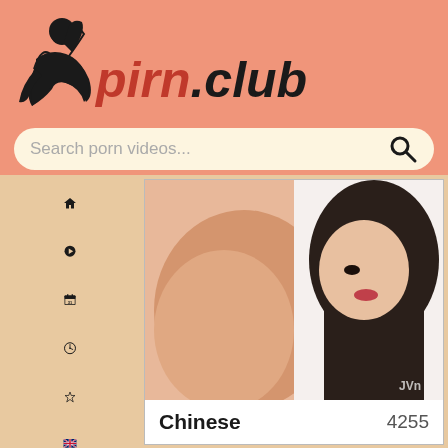[Figure (logo): pirn.club website logo with silhouette figure and red/black text]
Search porn videos...
[Figure (photo): Thumbnail image for Chinese category showing a woman]
Chinese    4255
[Figure (photo): Second category card placeholder with salmon/orange background]